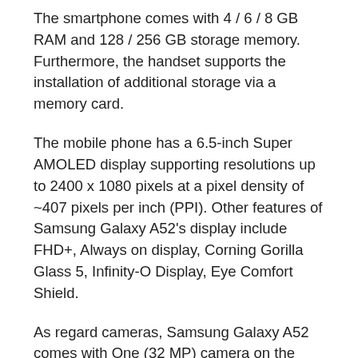The smartphone comes with 4 / 6 / 8 GB RAM and 128 / 256 GB storage memory. Furthermore, the handset supports the installation of additional storage via a memory card.
The mobile phone has a 6.5-inch Super AMOLED display supporting resolutions up to 2400 x 1080 pixels at a pixel density of ~407 pixels per inch (PPI). Other features of Samsung Galaxy A52's display include FHD+, Always on display, Corning Gorilla Glass 5, Infinity-O Display, Eye Comfort Shield.
As regard cameras, Samsung Galaxy A52 comes with One (32 MP) camera on the front side and four (64 x 12 x 5 x 5 MP) cameras on the back side. The front camera supports video recording up to 4K at 30 fps, 1080p at 30 fps. Whereas, the rear camera supports video recording up to 4K at 30 fps, 1080p at 30 / 60 fps. The aperture of